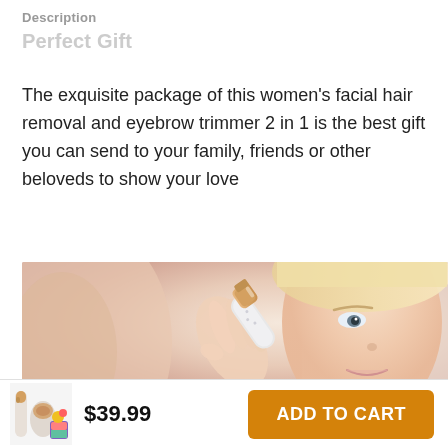Description
Perfect Gift
The exquisite package of this women's facial hair removal and eyebrow trimmer 2 in 1 is the best gift you can send to your family, friends or other beloveds to show your love
[Figure (photo): Woman using a rose-gold eyebrow trimmer device near her eyebrow, looking upward, blond hair, light background]
[Figure (photo): Small product thumbnail images of the eyebrow trimmer set]
$39.99
ADD TO CART